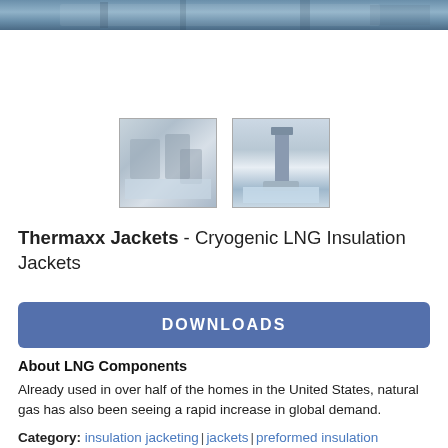[Figure (photo): Top portion of a large industrial image showing metallic pipes/equipment, cropped at top of page]
[Figure (photo): Small thumbnail image of industrial facility with insulation jacketing equipment, blurred/gray tones]
[Figure (photo): Small thumbnail image of a vertical industrial pipe/tower structure with snow on ground]
Thermaxx Jackets - Cryogenic LNG Insulation Jackets
DOWNLOADS
About LNG Components
Already used in over half of the homes in the United States, natural gas has also been seeing a rapid increase in global demand.
Category: insulation jacketing | jackets | preformed insulation